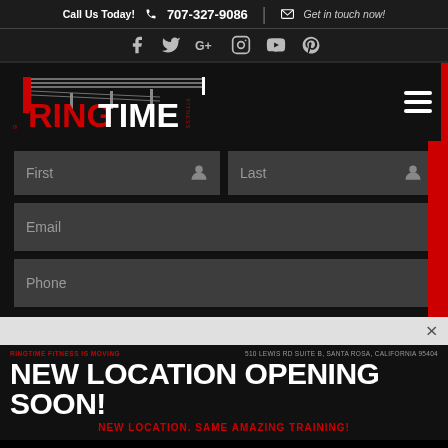Call Us Today! 707-327-9086 | Get in touch now!
[Figure (screenshot): Social media icons: Facebook, Twitter, Google+, Instagram, YouTube, Pinterest]
[Figure (logo): RingTime Fitness boxing gym logo with boxing ring illustration]
[Figure (screenshot): Website contact form with First, Last, Email, Phone fields on dark background with red accent bar and hamburger menu]
RINGTIME FITNESS IS MOVING
510 LEWIS RD SUITE B, SANTA ROSA, CALIFORNIA 95404
NEW LOCATION OPENING SOON!
NEW LOCATION. SAME AMAZING TRAINING!